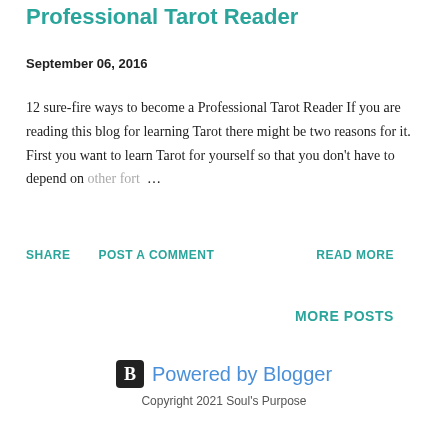Professional Tarot Reader
September 06, 2016
12 sure-fire ways to become a Professional Tarot Reader If you are reading this blog for learning Tarot there might be two reasons for it. First you want to learn Tarot for yourself so that you don't have to depend on other fort …
SHARE   POST A COMMENT   READ MORE
MORE POSTS
Powered by Blogger
Copyright 2021 Soul's Purpose